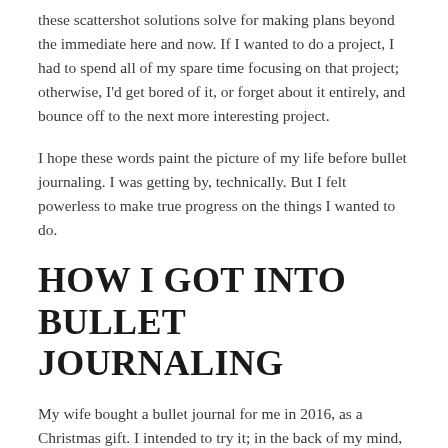these scattershot solutions solve for making plans beyond the immediate here and now. If I wanted to do a project, I had to spend all of my spare time focusing on that project; otherwise, I'd get bored of it, or forget about it entirely, and bounce off to the next more interesting project.
I hope these words paint the picture of my life before bullet journaling. I was getting by, technically. But I felt powerless to make true progress on the things I wanted to do.
HOW I GOT INTO BULLET JOURNALING
My wife bought a bullet journal for me in 2016, as a Christmas gift. I intended to try it; in the back of my mind, however, I didn't feel like this was going to be any different from other times I'd tried to learn new planners. I'd had years of failure and pain built into my memories, and these discouraged me from wanting to make a serious go at bullet